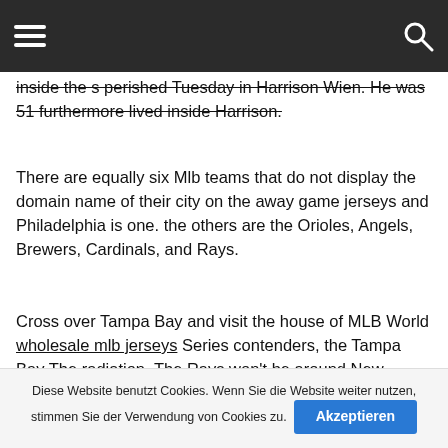[hamburger menu] [search icon]
inside the s perished Tuesday in Harrison Wien. He was 51 furthermore lived inside Harrison.
There are equally six Mlb teams that do not display the domain name of their city on the away game jerseys and Philadelphia is one. the others are the Orioles, Angels, Brewers, Cardinals, and Rays.
Cross over Tampa Bay and visit the house of MLB World wholesale mlb jerseys Series contenders, the Tampa Bay The radiation. The Rays won't be around New Orleans Saints Gold Nike Kids Elite Jerseys until April, but Nike Jets #22 Matt Forte Green Men's Stitched NFL Limited Salute To Service Tank Top Jersey football fans can take pleasure in authentic nfl jerseys stitched numbers Taste for the NFL at
Diese Website benutzt Cookies. Wenn Sie die Website weiter nutzen, stimmen Sie der Verwendung von Cookies zu. Akzeptieren